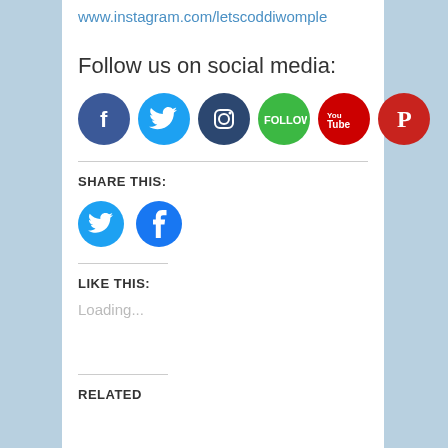www.instagram.com/letscoddiwomple
Follow us on social media:
[Figure (infographic): Row of six social media icon circles: Facebook (dark blue), Twitter (light blue), Instagram (dark navy), Follow (green), YouTube (red), Pinterest (red)]
SHARE THIS:
[Figure (infographic): Two share icon circles: Twitter (light blue) and Facebook (blue)]
LIKE THIS:
Loading...
RELATED